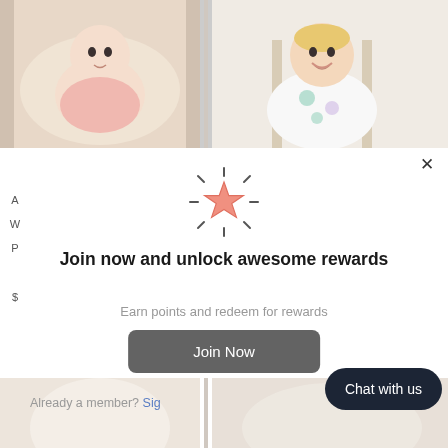[Figure (photo): Two baby photos at top: left shows a baby in pink outfit lying on cream blanket; right shows a toddler in floral outfit standing]
[Figure (illustration): Glowing star icon with sparkle rays in salmon/pink color]
Join now and unlock awesome rewards
Earn points and redeem for rewards
Join Now
Already a member? Sign
Chat with us
[Figure (photo): Two baby/product photos at bottom, partially visible]